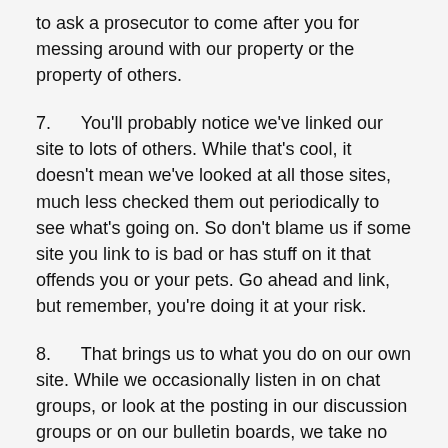to ask a prosecutor to come after you for messing around with our property or the property of others.
7.     You'll probably notice we've linked our site to lots of others. While that's cool, it doesn't mean we've looked at all those sites, much less checked them out periodically to see what's going on. So don't blame us if some site you link to is bad or has stuff on it that offends you or your pets. Go ahead and link, but remember, you're doing it at your risk.
8.     That brings us to what you do on our own site. While we occasionally listen in on chat groups, or look at the posting in our discussion groups or on our bulletin boards, we take no responsibility and assume no liability for the content of those locations or for any mistakes, defamation, libel, slander, omissions, falsehoods, obscenity, pornography, or profanity you might encounter